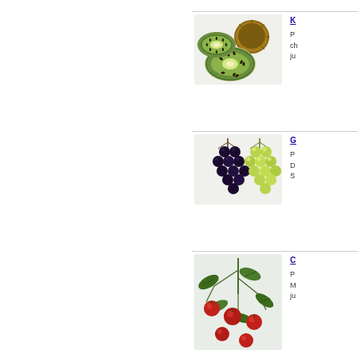[Figure (photo): Kiwi fruit - one whole kiwi and two kiwi halves showing green interior]
K
P
ch
ju
[Figure (photo): Grapes - bunch of dark purple/black grapes and green grapes]
G
P
D
S
[Figure (photo): Cranberries on the vine with green leaves and red berries]
C
P
M
ju